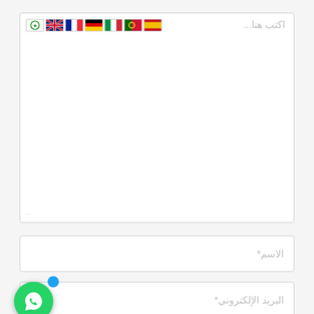[Figure (screenshot): A web form with a large text area showing flag icons (Spanish, Portuguese, Italian, German, French, UK, Arabic) and placeholder text 'اكتب هنا...' in Arabic. Below are input fields for name (الاسم*), email (البريد الإلكتروني*), and website (الموقع). A WhatsApp button icon appears at the bottom left.]
اكتب هنا...
الاسم*
البريد الإلكتروني*
الموقع